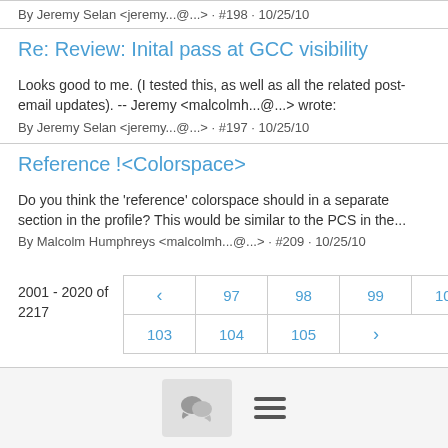By Jeremy Selan <jeremy...@...> · #198 · 10/25/10
Re: Review: Inital pass at GCC visibility
Looks good to me. (I tested this, as well as all the related post-email updates). -- Jeremy <malcolmh...@...> wrote:
By Jeremy Selan <jeremy...@...> · #197 · 10/25/10
Reference !<Colorspace>
Do you think the 'reference' colorspace should in a separate section in the profile? This would be similar to the PCS in the...
By Malcolm Humphreys <malcolmh...@...> · #209 · 10/25/10
2001 - 2020 of 2217
< 97 98 99 100 101 102 103 104 105 >